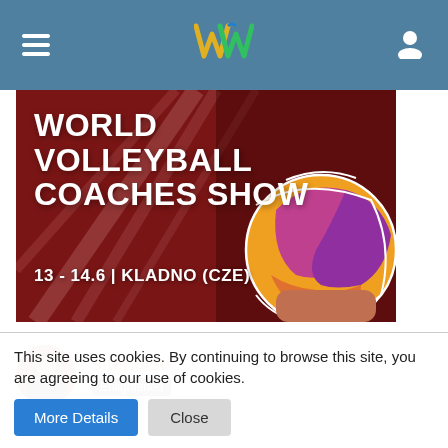Navigation bar with hamburger menu, logo, and user icon
[Figure (illustration): World Volleyball Coaches Show event banner with red background, volleyball ball, and text: WORLD VOLLEYBALL COACHES SHOW, 13 - 14.6 | KLADNO (CZE)]
sitenoise
Enlightened
This site uses cookies. By continuing to browse this site, you are agreeing to our use of cookies.